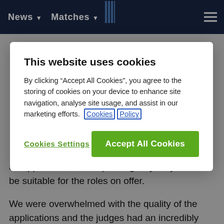News  Matches
This website uses cookies
By clicking “Accept All Cookies”, you agree to the storing of cookies on your device to enhance site navigation, analyse site usage, and assist in our marketing efforts.  Cookies Policy
Cookies Settings  Accept All Cookies
an application form explaining why they would be suitable for the roles on offer.
We were overwhelmed with the quality of the applications and the judges had an incredibly tough job making their selection but eventually the five positions were filled and the winners are:
Community Manager = Jordan Summerfield from